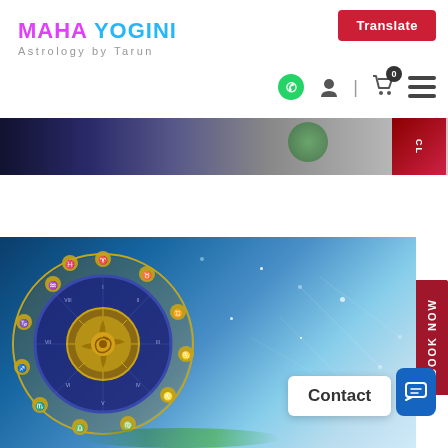MAHA YOGINI - Astrology by Tarun
[Figure (screenshot): Website header with Translate button, logo 'MAHA YOGINI Astrology by Tarun', navigation icons (WhatsApp, user, cart with 0, hamburger menu)]
[Figure (photo): Astrology website banner - partial top banner with dark gradient]
[Figure (photo): Main banner with zodiac wheel on blue starry background, with BOOK NOW vertical tab on right side]
[Figure (other): Contact popup box and blue chat button at bottom right]